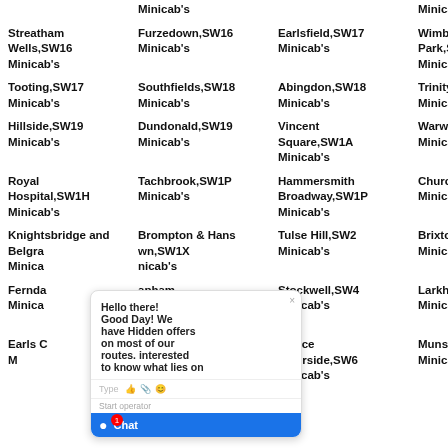Minicab's
Minicab's
Streatham Wells,SW16 Minicab's
Furzedown,SW16 Minicab's
Earlsfield,SW17 Minicab's
Wimbledon Park,SW17 Minicab's
Tooting,SW17 Minicab's
Southfields,SW18 Minicab's
Abingdon,SW18 Minicab's
Trinity,SW19 Minicab's
Hillside,SW19 Minicab's
Dundonald,SW19 Minicab's
Vincent Square,SW1A Minicab's
Warwick,SW1E Minicab's
Royal Hospital,SW1H Minicab's
Tachbrook,SW1P Minicab's
Hammersmith Broadway,SW1P Minicab's
Churchill,SW1V Minicab's
Knightsbridge and Belgravia Minicab's
Brompton & Hans Town,SW1X Minicab's
Tulse Hill,SW2 Minicab's
Brixton Hill,SW2 Minicab's
Ferndale Minicab's
Clapham Town,SW3 Minicab's
Stockwell,SW4 Minicab's
Larkhall,SW4 Minicab's
Earls Court Minicab's
Fulham Broadway,SW6 Minicab's
Palace Riverside,SW6 Minicab's
Munster,SW6 Minicab's